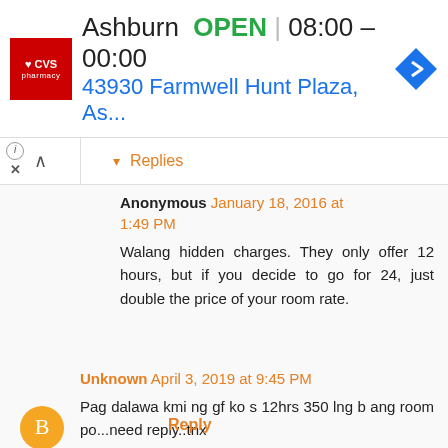[Figure (other): CVS Pharmacy advertisement banner showing Ashburn location, OPEN status, hours 08:00-00:00, address 43930 Farmwell Hunt Plaza, As..., with navigation icon]
Replies
Anonymous January 18, 2016 at 1:49 PM
Walang hidden charges. They only offer 12 hours, but if you decide to go for 24, just double the price of your room rate.
Unknown April 3, 2019 at 9:45 PM
Pag dalawa kmi ng gf ko s 12hrs 350 lng b ang room po...need reply..tnx
Reply